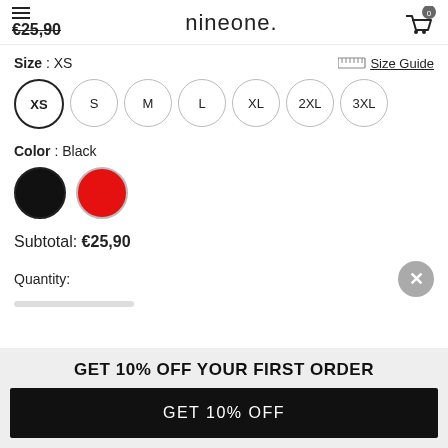nineone. €25,90
Size : XS
Size Guide
XS
S
M
L
XL
2XL
3XL
Color : Black
Subtotal:  €25,90
Quantity:
GET 10% OFF YOUR FIRST ORDER
GET 10% OFF